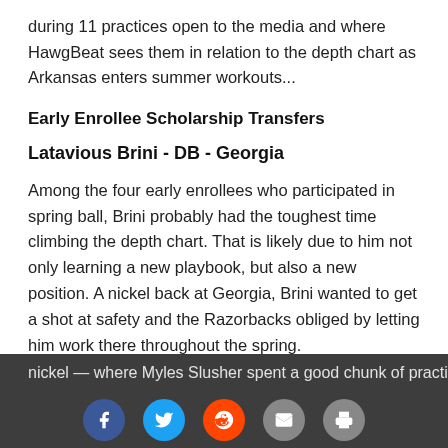during 11 practices open to the media and where HawgBeat sees them in relation to the depth chart as Arkansas enters summer workouts...
Early Enrollee Scholarship Transfers
Latavious Brini - DB - Georgia
Among the four early enrollees who participated in spring ball, Brini probably had the toughest time climbing the depth chart. That is likely due to him not only learning a new playbook, but also a new position. A nickel back at Georgia, Brini wanted to get a shot at safety and the Razorbacks obliged by letting him work there throughout the spring.
That learning curve is what held him back, but Pittman said he also expects to give him a look at nickel — where Myles Slusher spent a good chunk of practice — as safety is where he sees things
Social sharing bar: Facebook, Twitter, Reddit, Email, Print